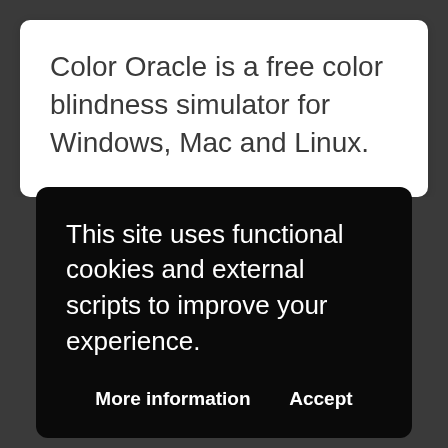Color Oracle is a free color blindness simulator for Windows, Mac and Linux.
This site uses functional cookies and external scripts to improve your experience.
More information
Accept